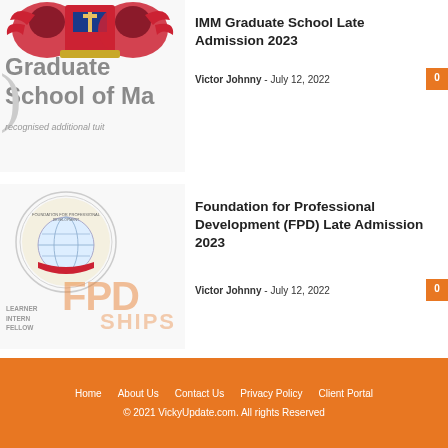[Figure (logo): University crest/coat of arms with red and gold shield and supporters, top-left corner]
[Figure (illustration): Partial view of Graduate School of Management logo/text with grey large text on white background, recognised additional tuit... text visible]
IMM Graduate School Late Admission 2023
Victor Johnny  -  July 12, 2022
[Figure (logo): FPD (Foundation for Professional Development) logo with circular seal and FPD letters in orange, LEARNER INTERN FELLOW SHIPS text]
Foundation for Professional Development (FPD) Late Admission 2023
Victor Johnny  -  July 12, 2022
Home   About Us   Contact Us   Privacy Policy   Client Portal
© 2021 VickyUpdate.com. All rights Reserved